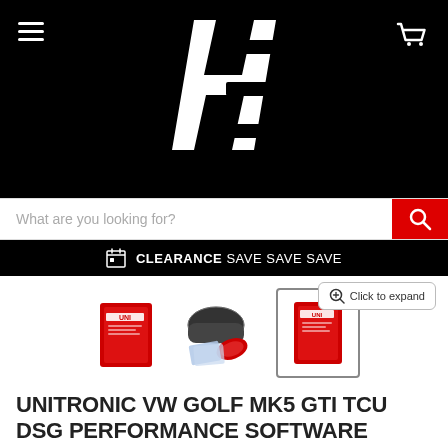[Figure (logo): Harry's Euro (HE) logo — stylized bold italic 'h' and 'E' in white on black background]
[Figure (screenshot): Search bar with placeholder 'What are you looking for?' and red search button]
CLEARANCE SAVE SAVE SAVE
Click to expand
[Figure (photo): Three product thumbnails: red software box, case with accessories, red software box (selected/highlighted)]
UNITRONIC VW GOLF MK5 GTI TCU DSG PERFORMANCE SOFTWARE
by Harrys Euro